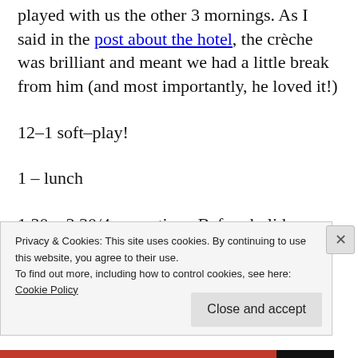played with us the other 3 mornings. As I said in the post about the hotel, the crèche was brilliant and meant we had a little break from him (and most importantly, he loved it!)
12–1 soft–play!
1 – lunch
1.30 – 3.30/4 – nap time. Before holidays he'd cut right down on his afternoon nap but the
Privacy & Cookies: This site uses cookies. By continuing to use this website, you agree to their use.
To find out more, including how to control cookies, see here:
Cookie Policy